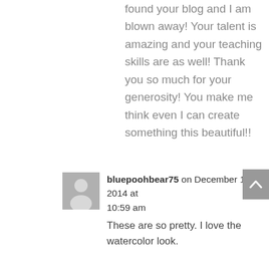found your blog and I am blown away! Your talent is amazing and your teaching skills are as well! Thank you so much for your generosity! You make me think even I can create something this beautiful!!
bluepoohbear75 on December 14, 2014 at 10:59 am
These are so pretty. I love the watercolor look.